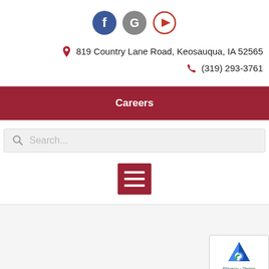[Figure (other): Social media icons: Facebook (blue circle with f), Google (gray circle with G), YouTube (white circle with red play button)]
819 Country Lane Road, Keosauqua, IA 52565
(319) 293-3761
Careers
Search...
[Figure (other): Red menu/hamburger icon with three white horizontal lines]
[Figure (other): reCAPTCHA widget showing Google logo and Privacy · Terms text]